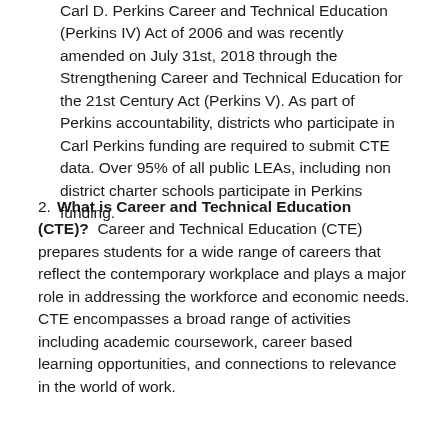Carl D. Perkins Career and Technical Education (Perkins IV) Act of 2006 and was recently amended on July 31st, 2018 through the Strengthening Career and Technical Education for the 21st Century Act (Perkins V). As part of Perkins accountability, districts who participate in Carl Perkins funding are required to submit CTE data. Over 95% of all public LEAs, including non district charter schools participate in Perkins funding.
2. What is Career and Technical Education (CTE)? Career and Technical Education (CTE) prepares students for a wide range of careers that reflect the contemporary workplace and plays a major role in addressing the workforce and economic needs. CTE encompasses a broad range of activities including academic coursework, career based learning opportunities, and connections to relevance in the world of work.